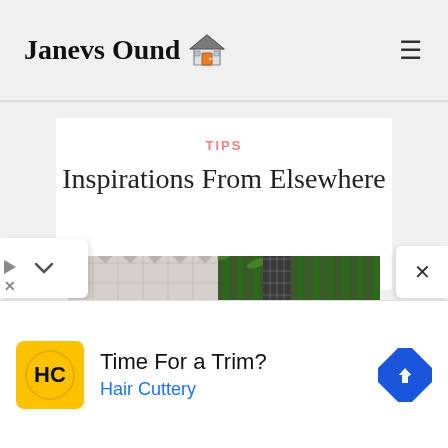Janevs Ound
TIPS
Inspirations From Elsewhere
[Figure (photo): Outdoor patio scene with decorative patterned wall tiles, tall bamboo plants, an ornate mosaic column, and ceramic pottery bowls]
Time For a Trim? Hair Cuttery